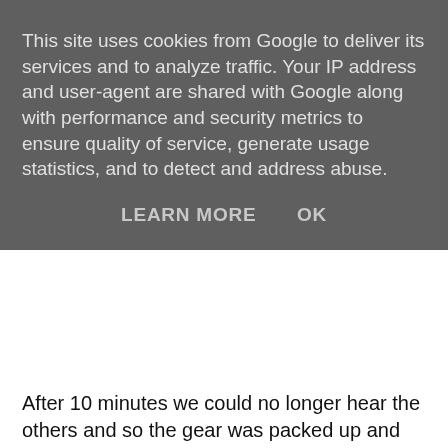This site uses cookies from Google to deliver its services and to analyze traffic. Your IP address and user-agent are shared with Google along with performance and security metrics to ensure quality of service, generate usage statistics, and to detect and address abuse.
LEARN MORE   OK
After 10 minutes we could no longer hear the others and so the gear was packed up and we continued on. Rachel had no problems with any of the climbs, crawls or water and soon we were at her he first real challenge, the boulder choke. I led in and could hear her scrambling along behind me. After 10 minutes we emerged the other side. I looked around to find Rachel struggling between boulders, a huge grin on her face....always a good sign :)
Next we slipped and slid through the mud and on to the Hall Of The Mountain King. Here we took Rachel through the bypass to see the start of the Seven Tunnel before heading back in to Travertine Passage for a quick photo before retracing our steps to the entrance to the North West Inlet. Here Keith wanted to grab a little video of people coming through the flooded passage. We each took it in turns to